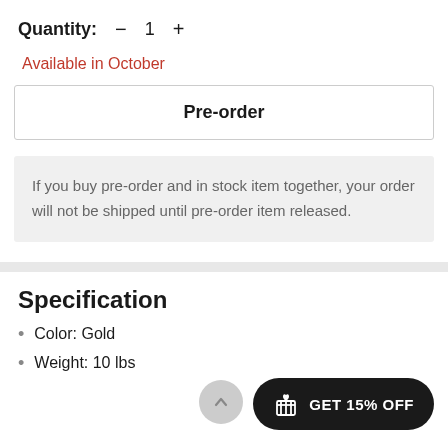Quantity: − 1 +
Available in October
Pre-order
If you buy pre-order and in stock item together, your order will not be shipped until pre-order item released.
Specification
Color: Gold
Weight: 10 lbs
[Figure (other): GET 15% OFF button with gift icon]